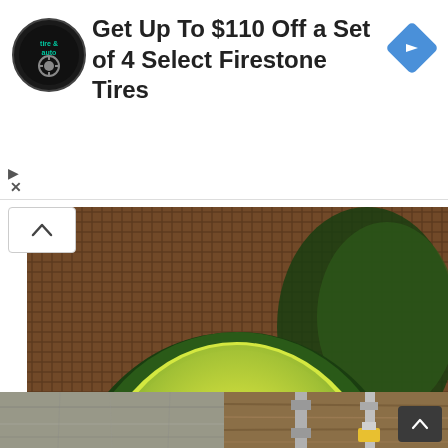[Figure (other): Advertisement banner: tire and auto logo (circular black badge), text 'Get Up To $110 Off a Set of 4 Select Firestone Tires', blue diamond arrow icon on right, play and close icons on lower left]
[Figure (photo): Close-up photo of a halved avocado showing the large brown pit, bright yellow-green flesh, and dark green skin, on a woven burlap/mesh background]
10 Ways You Never Knew You Could Eat Avocado
Live Healthy
[Figure (photo): Bottom strip showing two partial images side by side: left shows a concrete or stone wall surface, right shows wooden planks with metal clamps/tools]